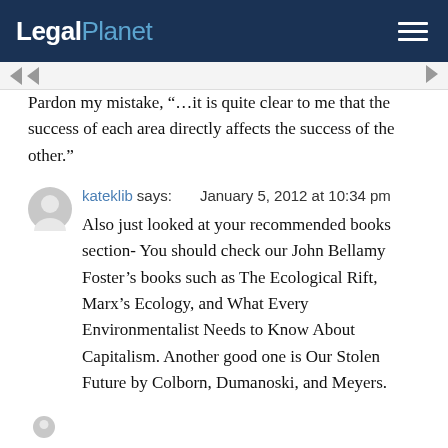LegalPlanet
Pardon my mistake, “…it is quite clear to me that the success of each area directly affects the success of the other.”
kateklib says: January 5, 2012 at 10:34 pm
Also just looked at your recommended books section- You should check our John Bellamy Foster’s books such as The Ecological Rift, Marx’s Ecology, and What Every Environmentalist Needs to Know About Capitalism. Another good one is Our Stolen Future by Colborn, Dumanoski, and Meyers.